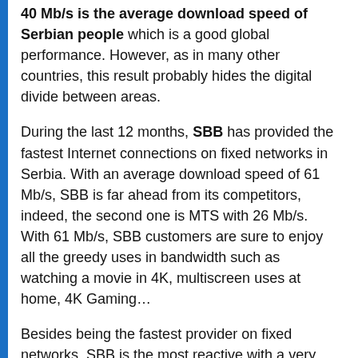40 Mb/s is the average download speed of Serbian people which is a good global performance. However, as in many other countries, this result probably hides the digital divide between areas.
During the last 12 months, SBB has provided the fastest Internet connections on fixed networks in Serbia. With an average download speed of 61 Mb/s, SBB is far ahead from its competitors, indeed, the second one is MTS with 26 Mb/s. With 61 Mb/s, SBB customers are sure to enjoy all the greedy uses in bandwidth such as watching a movie in 4K, multiscreen uses at home, 4K Gaming…
Besides being the fastest provider on fixed networks, SBB is the most reactive with a very good latency, 41 ms; so if you are a gamer and need short latency, SBB does the job.
For full details, click here: